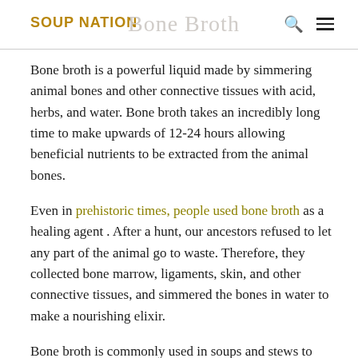SOUP NATION | Bone Broth
Bone broth is a powerful liquid made by simmering animal bones and other connective tissues with acid, herbs, and water. Bone broth takes an incredibly long time to make upwards of 12-24 hours allowing beneficial nutrients to be extracted from the animal bones.
Even in prehistoric times, people used bone broth as a healing agent . After a hunt, our ancestors refused to let any part of the animal go to waste. Therefore, they collected bone marrow, ligaments, skin, and other connective tissues, and simmered the bones in water to make a nourishing elixir.
Bone broth is commonly used in soups and stews to help heal